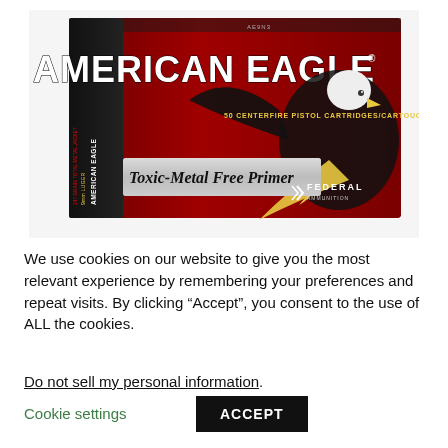[Figure (photo): American Eagle Federal Ammunition box, red with black side panel, showing a bald eagle graphic. Text on box: 'AMERICAN EAGLE', 'Toxic-Metal Free Primer', '50 CENTERFIRE PISTOL CARTRIDGES/CARTOUCHES', 'FEDERAL AMMUNITION', '9mm LUGER', '147 GRAIN TOTAL METAL JACKET']
We use cookies on our website to give you the most relevant experience by remembering your preferences and repeat visits. By clicking “Accept”, you consent to the use of ALL the cookies.
Do not sell my personal information.
Cookie settings
ACCEPT